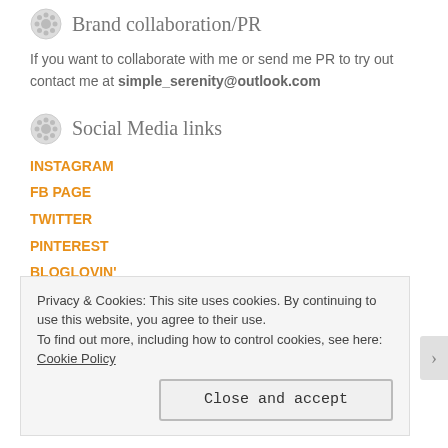Brand collaboration/PR
If you want to collaborate with me or send me PR to try out contact me at simple_serenity@outlook.com
Social Media links
INSTAGRAM
FB PAGE
TWITTER
PINTEREST
BLOGLOVIN'
Privacy & Cookies: This site uses cookies. By continuing to use this website, you agree to their use. To find out more, including how to control cookies, see here: Cookie Policy
Close and accept